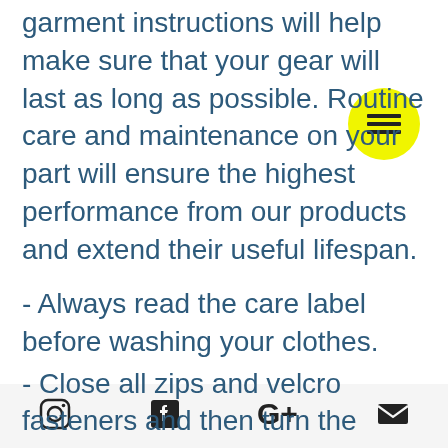garment instructions will help make sure that your gear will last as long as possible. Routine care and maintenance on your part will ensure the highest performance from our products and extend their useful lifespan.
- Always read the care label before washing your clothes.
- Close all zips and velcro fasteners and then turn the garment inside out.
- Wash with liquid detergent and rinse thoroughly, lukewarm water (max.30°C)
Instagram, Facebook, Google+, Email icons